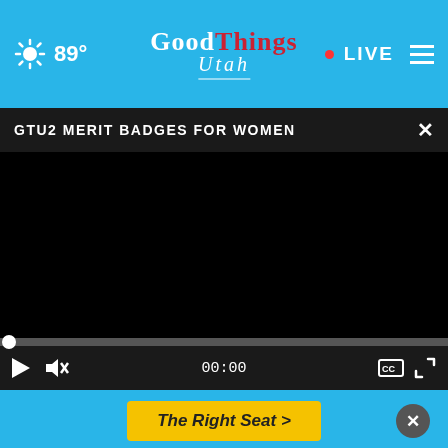[Figure (screenshot): Good Things Utah website navigation bar with sky blue background, sun icon, 89° temperature, GoodThings Utah logo in center, red LIVE dot with LIVE text, and hamburger menu icon on right]
GTU2 MERIT BADGES FOR WOMEN
[Figure (screenshot): Black video player area with progress bar and playback controls including play button, mute icon, 00:00 timestamp, CC button, and fullscreen button]
[Figure (screenshot): Advertisement showing 'The Right Seat >' button in yellow on blue background with close X button]
[Figure (screenshot): Exxon advertisement: 'Exxon pre-additized diesel keeps your engine cleaner.*' with Exxon logo and navigation arrow icon]